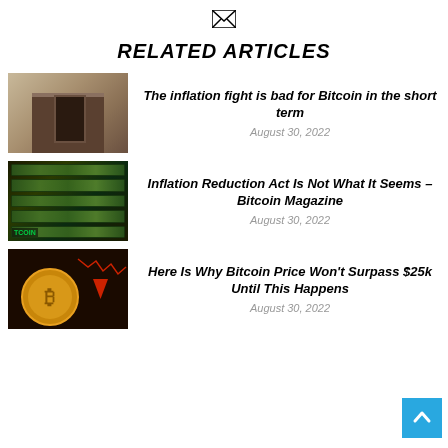✉
RELATED ARTICLES
[Figure (photo): Federal Reserve building facade, stone columns and engraving]
The inflation fight is bad for Bitcoin in the short term
August 30, 2022
[Figure (photo): Rows of green dollar bills being printed, with TCOIN label]
Inflation Reduction Act Is Not What It Seems – Bitcoin Magazine
August 30, 2022
[Figure (photo): Bitcoin coin with red downward arrow and market chart in background]
Here Is Why Bitcoin Price Won't Surpass $25k Until This Happens
August 30, 2022